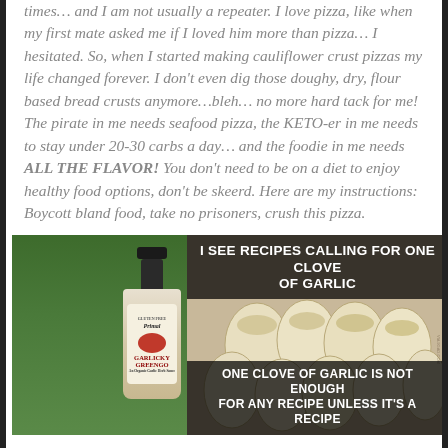times… and I am not usually a repeater. I love pizza, like when my first mate asked me if I loved him more than pizza… I hesitated. So, when I started making cauliflower crust pizzas my life changed forever. I don't even dig those doughy, dry, flour based bread crusts anymore…bleh… no more hard tack for me! The pirate in me needs seafood pizza, the KETO-er in me needs to stay under 20-30 carbs a day… and the foodie in me needs ALL THE FLAVOR! You don't need to be on a diet to enjoy healthy food options, don't be skeerd. Here are my instructions: Boycott bland food, take no prisoners, crush this pizza.
[Figure (photo): Photo of a bottle of Garlicky Greengo sauce on grass background]
[Figure (photo): Meme image showing garlic cloves with text: 'I SEE RECIPES CALLING FOR ONE CLOVE OF GARLIC' at top and 'ONE CLOVE OF GARLIC IS NOT ENOUGH FOR ANY RECIPE UNLESS IT'S A RECIPE' at bottom]